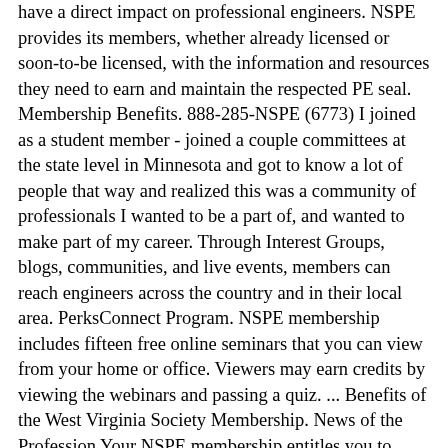have a direct impact on professional engineers. NSPE provides its members, whether already licensed or soon-to-be licensed, with the information and resources they need to earn and maintain the respected PE seal. Membership Benefits. 888-285-NSPE (6773) I joined as a student member - joined a couple committees at the state level in Minnesota and got to know a lot of people that way and realized this was a community of professionals I wanted to be a part of, and wanted to make part of my career. Through Interest Groups, blogs, communities, and live events, members can reach engineers across the country and in their local area. PerksConnect Program. NSPE membership includes fifteen free online seminars that you can view from your home or office. Viewers may earn credits by viewing the webinars and passing a quiz. ... Benefits of the West Virginia Society Membership. News of the Profession Your NSPE membership entitles you to deep discounts on a wide variety of publications, standard contract documents, and other services offered by NSPE's benefit partners. Build Your Network. The Nebraska Society of Professional Engineers, recognizing that service to humanity, to our nation and to our state is the fundamental purpose of professional engineering, dedicates itself to the promotion and the protection of the profession of engineering as a social and economic influence vital to the welfare of the community and of all mankind. This includes students at graduate-level engineering programs, too! There are so many NJSPE membership benefits – join today! Career Advancement Learn more here. Three-tier Membership. ... Members only e-